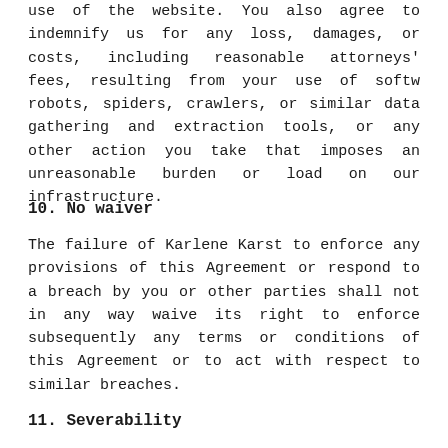use of the website. You also agree to indemnify us for any loss, damages, or costs, including reasonable attorneys' fees, resulting from your use of software robots, spiders, crawlers, or similar data gathering and extraction tools, or any other action you take that imposes an unreasonable burden or load on our infrastructure.
10.  No waiver
The failure of Karlene Karst to enforce any provisions of this Agreement or respond to a breach by you or other parties shall not in any way waive its right to enforce subsequently any terms or conditions of this Agreement or to act with respect to similar breaches.
11.  Severability